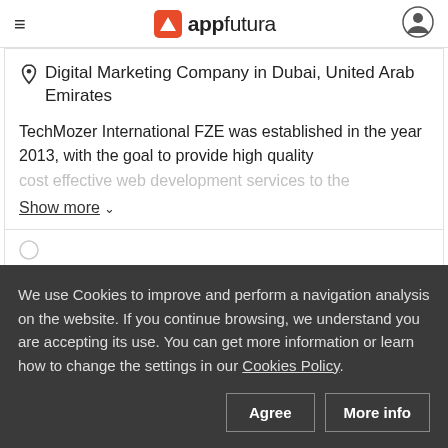appfutura
Digital Marketing Company in Dubai, United Arab Emirates
TechMozer International FZE was established in the year 2013, with the goal to provide high quality cost effective web development services to the
Show more
We use Cookies to improve and perform a navigation analysis on the website. If you continue browsing, we understand you are accepting its use. You can get more information or learn how to change the settings in our Cookies Policy.
Agree
More info